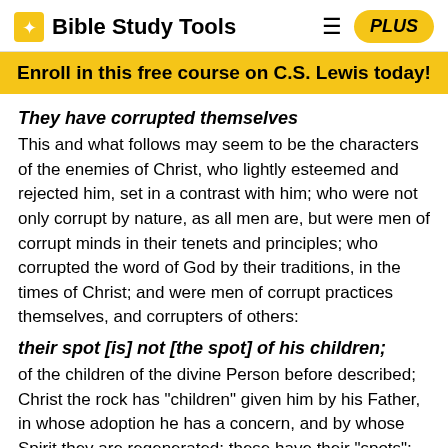Bible Study Tools
Enroll in this free course on C.S. Lewis today!
They have corrupted themselves
This and what follows may seem to be the characters of the enemies of Christ, who lightly esteemed and rejected him, set in a contrast with him; who were not only corrupt by nature, as all men are, but were men of corrupt minds in their tenets and principles; who corrupted the word of God by their traditions, in the times of Christ; and were men of corrupt practices themselves, and corrupters of others:
their spot [is] not [the spot] of his children;
of the children of the divine Person before described; Christ the rock has "children" given him by his Father, in whose adoption he has a concern, and by whose Spirit they are regenerated: these have their "spots"; by